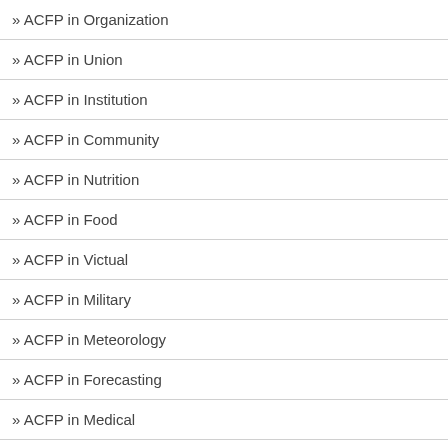» ACFP in Organization
» ACFP in Union
» ACFP in Institution
» ACFP in Community
» ACFP in Nutrition
» ACFP in Food
» ACFP in Victual
» ACFP in Military
» ACFP in Meteorology
» ACFP in Forecasting
» ACFP in Medical
» ACFP in Treatment
» ACFP in Therapy
» ACFP in Hospital
» ACFP in Business